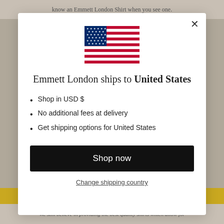know an Emmett London Shirt when you see one.
[Figure (illustration): US flag icon, rectangular, showing stars and stripes]
Emmett London ships to United States
Shop in USD $
No additional fees at delivery
Get shipping options for United States
Shop now
Change shipping country
We still believe in providing the best quality shirts which allow for